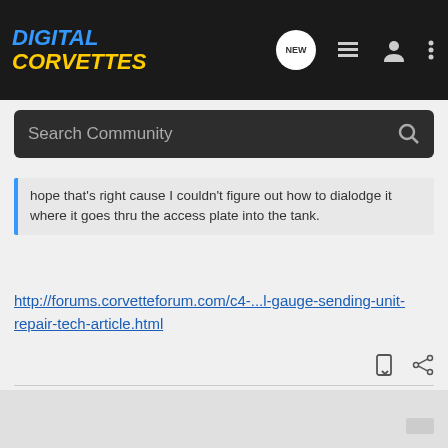DIGITAL CORVETTES
Search Community
hope that's right cause I couldn't figure out how to dialodge it where it goes thru the access plate into the tank.
http://forums.corvetteforum.com/c4-...l-gauge-sending-unit-repair-tech-article.html
"Being able to "think outside the box" presupposes you were able to think in it." --Bob Lutz